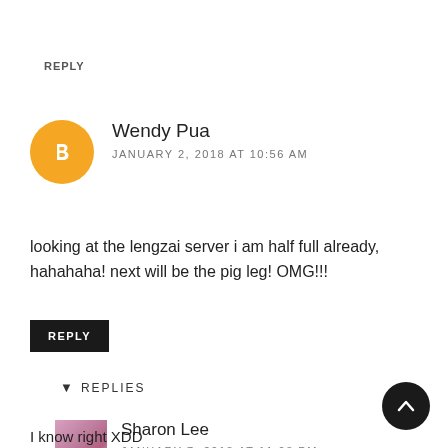REPLY
Wendy Pua
JANUARY 2, 2018 AT 10:56 AM
looking at the lengzai server i am half full already, hahahaha! next will be the pig leg! OMG!!!
REPLY
▼ REPLIES
Sharon Lee
JANUARY 7, 2018 AT 11:08 PM
I know right XDD